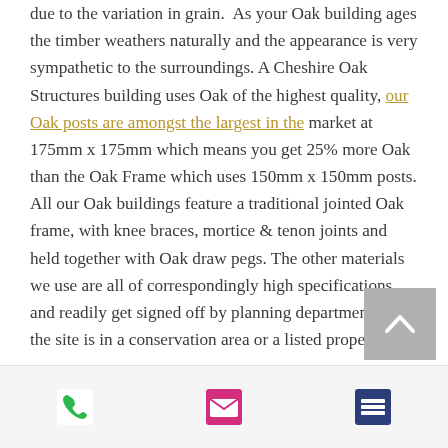due to the variation in grain. As your Oak building ages the timber weathers naturally and the appearance is very sympathetic to the surroundings. A Cheshire Oak Structures building uses Oak of the highest quality, our Oak posts are amongst the largest in the market at 175mm x 175mm which means you get 25% more Oak than the Oak Frame which uses 150mm x 150mm posts. All our Oak buildings feature a traditional jointed Oak frame, with knee braces, mortice & tenon joints and held together with Oak draw pegs. The other materials we use are all of correspondingly high specifications and readily get signed off by planning departments if the site is in a conservation area or a listed property.
[Figure (other): Back to top button with upward chevron arrow on grey background]
[Figure (other): Footer navigation bar with three icons: phone (green), email/envelope (pink/magenta), and menu/list (dark blue)]